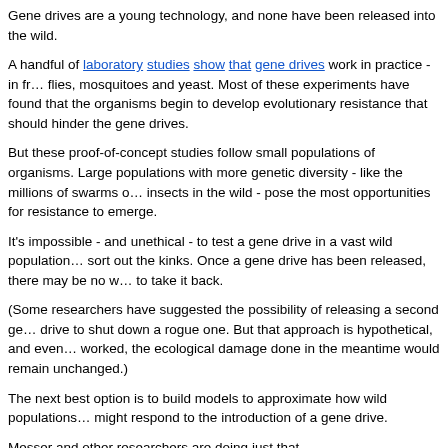Gene drives are a young technology, and none have been released into the wild.
A handful of laboratory studies show that gene drives work in practice - in fr… flies, mosquitoes and yeast. Most of these experiments have found that the organisms begin to develop evolutionary resistance that should hinder the gene drives.
But these proof-of-concept studies follow small populations of organisms. Large populations with more genetic diversity - like the millions of swarms o… insects in the wild - pose the most opportunities for resistance to emerge.
It's impossible - and unethical - to test a gene drive in a vast wild population… sort out the kinks. Once a gene drive has been released, there may be no w… to take it back.
(Some researchers have suggested the possibility of releasing a second ge… drive to shut down a rogue one. But that approach is hypothetical, and even… worked, the ecological damage done in the meantime would remain unchanged.)
The next best option is to build models to approximate how wild populations… might respond to the introduction of a gene drive.
Messer and other researchers are doing just that.
"For us, it was clear that there was this discrepancy - a lot of geneticists have done a great job at trying to build these systems, but they were not concerned that much with what is